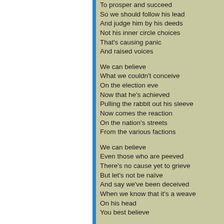To prosper and succeed
So we should follow his lead
And judge him by his deeds
Not his inner circle choices
That's causing panic
And raised voices

We can believe
What we couldn't conceive
On the election eve
Now that he's achieved
Pulling the rabbit out his sleeve
Now comes the reaction
On the nation's streets
From the various factions

We can believe
Even those who are peeved
There's no cause yet to grieve
But let's not be naïve
And say we've been deceived
When we know that it's a weave
On his head
You best believe